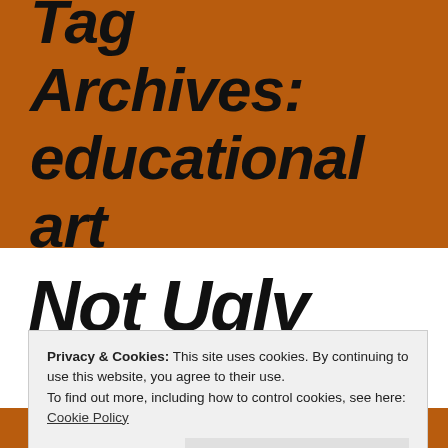Tag Archives: educational art
Not Ugly
Privacy & Cookies: This site uses cookies. By continuing to use this website, you agree to their use.
To find out more, including how to control cookies, see here: Cookie Policy
Close and accept